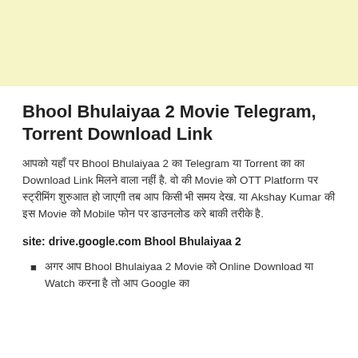[Figure (other): Light yellow banner/advertisement area at the top of the page]
Bhool Bhulaiyaa 2 Movie Telegram, Torrent Download Link
आपको यहाँ पर Bhool Bhulaiyaa 2 का Telegram या Torrent या का Download Link मिलने वाला नहीं है. वो की Movie को OTT Platform पर स्ट्रीमिंग शुरुआत हो जाएगी तब आप किसी भी समय देख. या Akshay Kumar की इस Movie को Mobile फोन पर डाउनलोड करे बाकी तरीके है.
site: drive.google.com Bhool Bhulaiyaa 2
अगर आप Bhool Bhulaiyaa 2 Movie को Online Download या Watch करना है तो आप Google का